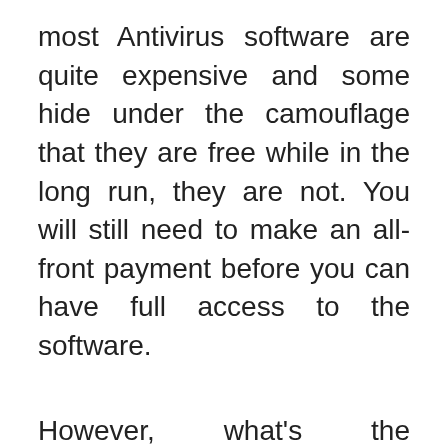most Antivirus software are quite expensive and some hide under the camouflage that they are free while in the long run, they are not. You will still need to make an all-front payment before you can have full access to the software.
However, what's the probability that the Antivirus you finally select will work for your PC brand? Will you have to pay for every Antivirus software you come across before you get the best one that